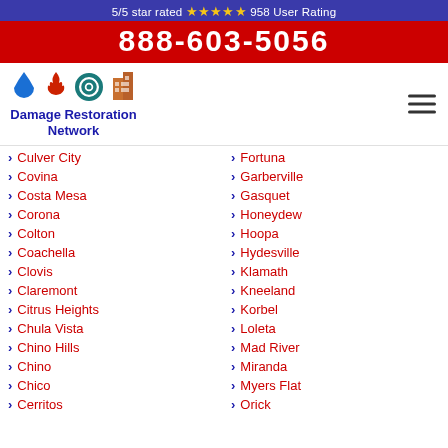5/5 star rated ★★★★★ 958 User Rating
888-603-5056
[Figure (logo): Damage Restoration Network logo with water drop, fire, hurricane, and building icons]
Culver City
Covina
Costa Mesa
Corona
Colton
Coachella
Clovis
Claremont
Citrus Heights
Chula Vista
Chino Hills
Chino
Chico
Cerritos
Fortuna
Garberville
Gasquet
Honeydew
Hoopa
Hydesville
Klamath
Kneeland
Korbel
Loleta
Mad River
Miranda
Myers Flat
Orick